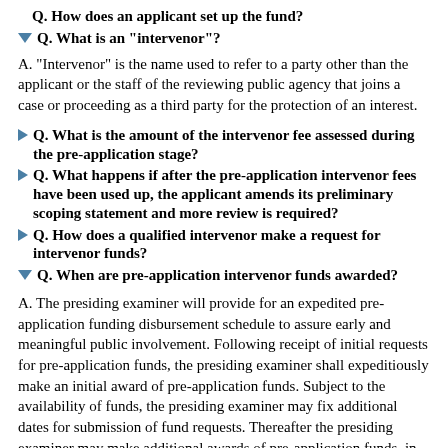Q. How does an applicant set up the fund?
Q. What is an "intervenor"?
A. "Intervenor" is the name used to refer to a party other than the applicant or the staff of the reviewing public agency that joins a case or proceeding as a third party for the protection of an interest.
Q. What is the amount of the intervenor fee assessed during the pre-application stage?
Q. What happens if after the pre-application intervenor fees have been used up, the applicant amends its preliminary scoping statement and more review is required?
Q. How does a qualified intervenor make a request for intervenor funds?
Q. When are pre-application intervenor funds awarded?
A. The presiding examiner will provide for an expedited pre-application funding disbursement schedule to assure early and meaningful public involvement. Following receipt of initial requests for pre-application funds, the presiding examiner shall expeditiously make an initial award of pre-application funds. Subject to the availability of funds, the presiding examiner may fix additional dates for submission of fund requests. Thereafter the presiding examiner may make additional awards of pre-application funds, in relation to the potential for such awards to make an